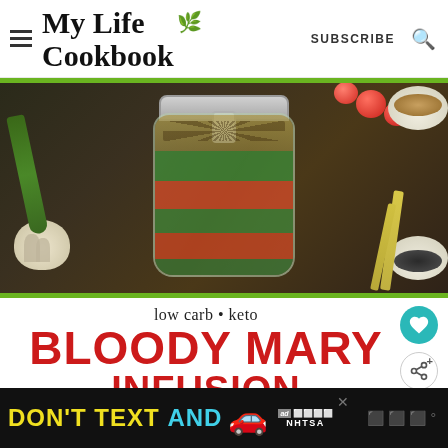My Life Cookbook — SUBSCRIBE
[Figure (photo): A glass mason jar filled with pickled vegetables (carrots, celery, peppers) with spices on top, surrounded by garlic, cherry tomatoes, green peppers, lemongrass, and small bowls of spices on a dark wooden surface.]
low carb • keto BLOODY MARY INFUSION
DON'T TEXT AND [car emoji] — ad — NHTSA